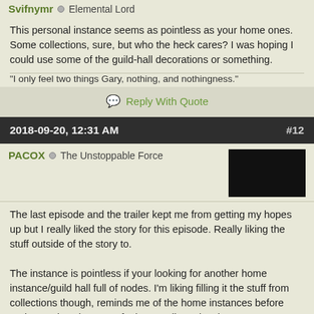Svifnymr  Elemental Lord
This personal instance seems as pointless as your home ones. Some collections, sure, but who the heck cares? I was hoping I could use some of the guild-hall decorations or something.
"I only feel two things Gary, nothing, and nothingness."
Reply With Quote
2018-09-20, 12:31 AM  #12
PACOX  The Unstoppable Force
The last episode and the trailer kept me from getting my hopes up but I really liked the story for this episode. Really liking the stuff outside of the story to.
The instance is pointless if your looking for another home instance/guild hall full of nodes. I'm liking filling it the stuff from collections though, reminds me of the home instances before nodes. Makes the game feel more alive. Also there's no reason for the Commander to not have had a base at this point, long time coming.
Killing dragons and gods but still don't have a base of operations to call your own?
The final cutscene makes me wish ArenaNet had the resources to really